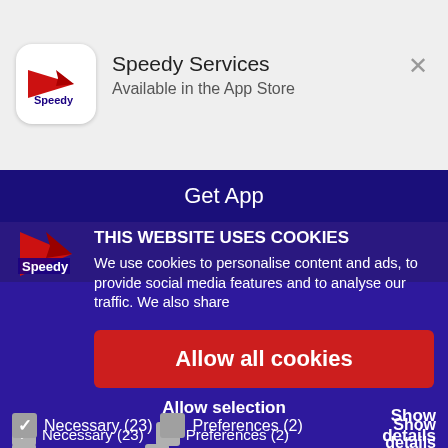[Figure (screenshot): App Store banner for Speedy Services app with logo icon, name, and 'Available in the App Store' subtitle. Close button (X) on right.]
Get App
THIS WEBSITE USES COOKIES
We use cookies to personalise content and ads, to provide social media features and to analyse our traffic. We also share
Allow all cookies
Allow selection
Necessary (23)
Preferences (2)
Show details
Statistics (18)
Marketing (25)